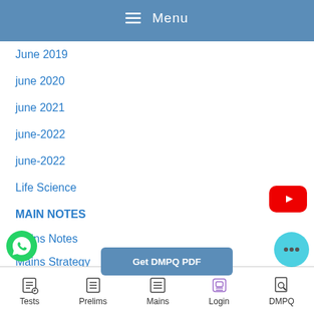Menu
June 2019
june 2020
june 2021
june-2022
june-2022
Life Science
MAIN NOTES
Mains Notes
Mains Strategy
mains test series
management and Administration
[Figure (logo): YouTube play button red icon]
[Figure (screenshot): Get DMPQ PDF blue button]
[Figure (logo): WhatsApp green icon]
[Figure (logo): Chat bubble icon]
Tests  Prelims  Mains  Login  DMPQ